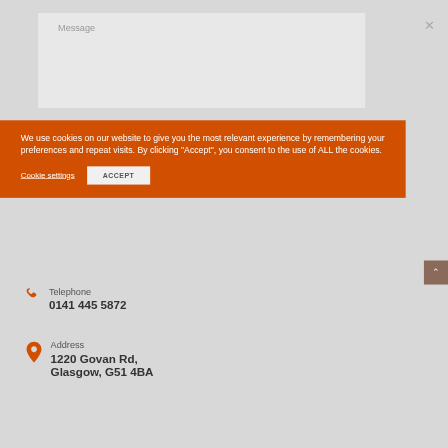Message
[Figure (screenshot): Cookie consent banner with orange background containing text about cookie usage, a Cookie settings link, and an ACCEPT button]
Telephone
0141 445 5872
Address
1220 Govan Rd, Glasgow, G51 4BA